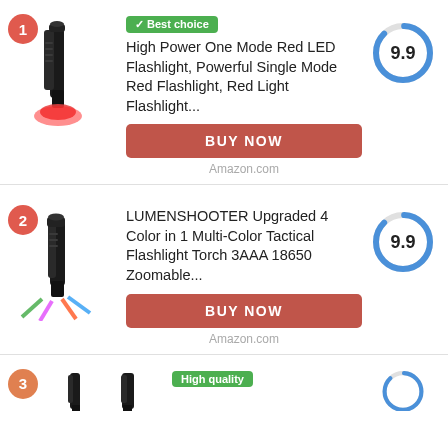[Figure (photo): Product listing card 1: Red LED flashlight (black body with red light). Badge showing rank 1. Best choice green badge. Score 9.9 donut chart. BUY NOW button. Amazon.com source label.]
High Power One Mode Red LED Flashlight, Powerful Single Mode Red Flashlight, Red Light Flashlight...
[Figure (photo): Product listing card 2: Multi-color LED flashlight torch. Badge showing rank 2. Score 9.9 donut chart. BUY NOW button. Amazon.com source label.]
LUMENSHOOTER Upgraded 4 Color in 1 Multi-Color Tactical Flashlight Torch 3AAA 18650 Zoomable...
[Figure (photo): Product listing card 3 (partially visible): Multiple flashlights. Rank badge 3. High quality green badge. Score donut chart partially visible.]